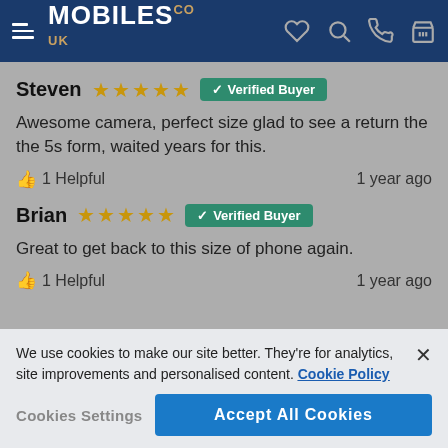MOBILES.co.uk
Steven ★★★★★ ✓ Verified Buyer
Awesome camera, perfect size glad to see a return the the 5s form, waited years for this.
👍 1 Helpful   1 year ago
Brian ★★★★★ ✓ Verified Buyer
Great to get back to this size of phone again.
👍 1 Helpful   1 year ago
We use cookies to make our site better. They're for analytics, site improvements and personalised content. Cookie Policy
Cookies Settings   Accept All Cookies